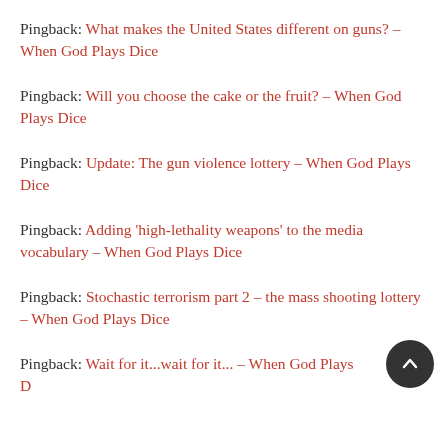Pingback: What makes the United States different on guns? – When God Plays Dice
Pingback: Will you choose the cake or the fruit? – When God Plays Dice
Pingback: Update: The gun violence lottery – When God Plays Dice
Pingback: Adding 'high-lethality weapons' to the media vocabulary – When God Plays Dice
Pingback: Stochastic terrorism part 2 – the mass shooting lottery – When God Plays Dice
Pingback: Wait for it...wait for it... – When God Plays D